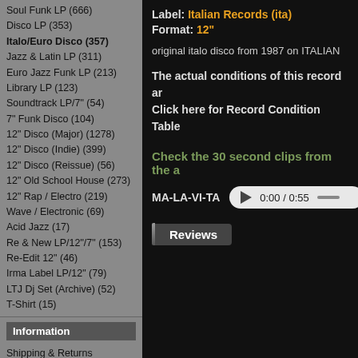Soul Funk LP (666)
Disco LP (353)
Italo/Euro Disco (357)
Jazz & Latin LP (311)
Euro Jazz Funk LP (213)
Library LP (123)
Soundtrack LP/7" (54)
7" Funk Disco (104)
12" Disco (Major) (1278)
12" Disco (Indie) (399)
12" Disco (Reissue) (56)
12" Old School House (273)
12" Rap / Electro (219)
Wave / Electronic (69)
Acid Jazz (17)
Re & New LP/12"/7" (153)
Re-Edit 12" (46)
Irma Label LP/12" (79)
LTJ Dj Set (Archive) (52)
T-Shirt (15)
Information
Shipping & Returns
Vinyl Grading Info
Our Company
Our Friends
Contact Us
Shopping Cart
Label: Italian Records (ita)
Format: 12"
original italo disco from 1987 on ITALIAN
The actual conditions of this record ar...
Click here for Record Condition Table
Check the 30 second clips from the a...
MA-LA-VI-TA  ▶ 0:00 / 0:55
Reviews